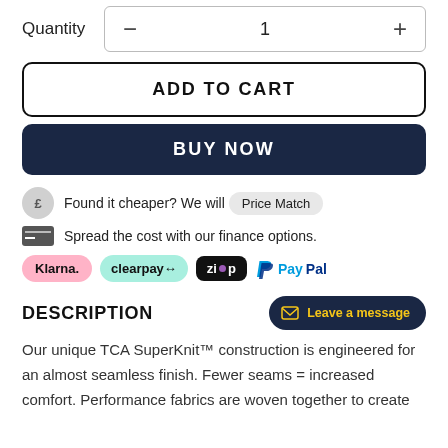Quantity  —  1  +
ADD TO CART
BUY NOW
Found it cheaper? We will  Price Match
Spread the cost with our finance options.
[Figure (logo): Payment logos: Klarna, Clearpay, Zip, PayPal]
DESCRIPTION
Leave a message
Our unique TCA SuperKnit™ construction is engineered for an almost seamless finish. Fewer seams = increased comfort. Performance fabrics are woven together to create